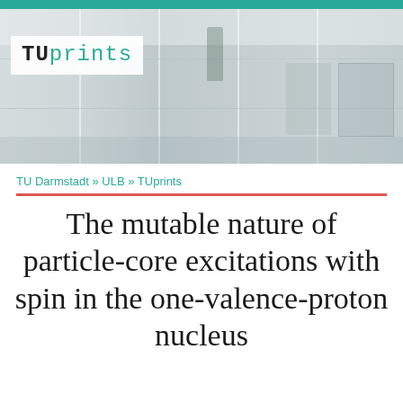[Figure (photo): TUprints header banner showing a library interior with glass panels, shelves, and a person walking. The TU prints logo appears overlaid on the left side.]
TU Darmstadt » ULB » TUprints
The mutable nature of particle-core excitations with spin in the one-valence-proton nucleus